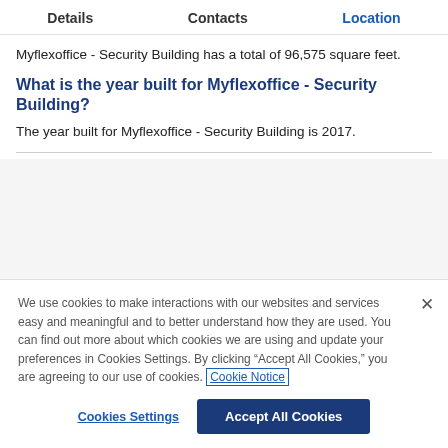Details  Contacts  Location
Myflexoffice - Security Building has a total of 96,575 square feet.
What is the year built for Myflexoffice - Security Building?
The year built for Myflexoffice - Security Building is 2017.
We use cookies to make interactions with our websites and services easy and meaningful and to better understand how they are used. You can find out more about which cookies we are using and update your preferences in Cookies Settings. By clicking "Accept All Cookies," you are agreeing to our use of cookies. Cookie Notice
Cookies Settings
Accept All Cookies